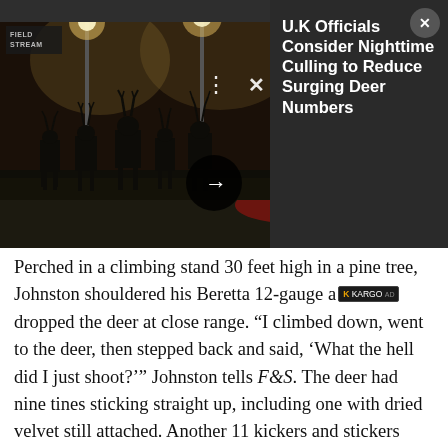[Figure (photo): Nighttime photo of deer silhouetted along a road median with street lights glowing in foggy atmosphere. Overlaid UI elements include a Field & Stream logo top-left on photo, three-dots menu and X close button, a dark right-side panel with article title, and a circular arrow navigation button.]
U.K Officials Consider Nighttime Culling to Reduce Surging Deer Numbers
Perched in a climbing stand 30 feet high in a pine tree, Johnston shouldered his Beretta 12-gauge and dropped the deer at close range. “I climbed down, went to the deer, then stepped back and said, ‘What the hell did I just shoot?’” Johnston tells F&S. The deer had nine tines sticking straight up, including one with dried velvet still attached. Another 11 kickers and stickers jutted from the bases, which were thick,